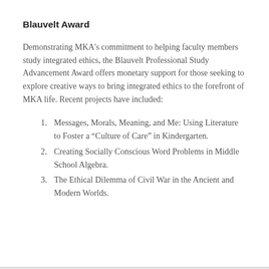Blauvelt Award
Demonstrating MKA's commitment to helping faculty members study integrated ethics, the Blauvelt Professional Study Advancement Award offers monetary support for those seeking to explore creative ways to bring integrated ethics to the forefront of MKA life. Recent projects have included:
Messages, Morals, Meaning, and Me: Using Literature to Foster a “Culture of Care” in Kindergarten.
Creating Socially Conscious Word Problems in Middle School Algebra.
The Ethical Dilemma of Civil War in the Ancient and Modern Worlds.